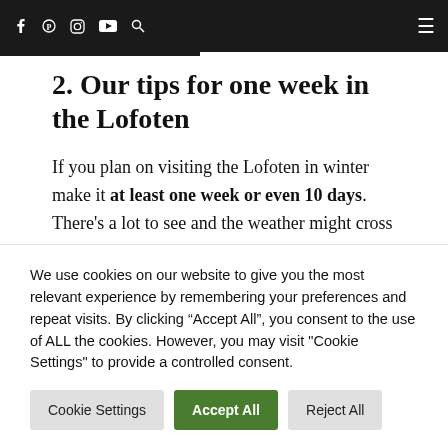f  [pinterest]  [instagram]  [youtube]  [search]  [menu]
2. Our tips for one week in the Lofoten
If you plan on visiting the Lofoten in winter make it at least one week or even 10 days. There's a lot to see and the weather might cross your plans once in a while. So, it's better to have
We use cookies on our website to give you the most relevant experience by remembering your preferences and repeat visits. By clicking "Accept All", you consent to the use of ALL the cookies. However, you may visit "Cookie Settings" to provide a controlled consent.
Cookie Settings   Accept All   Reject All